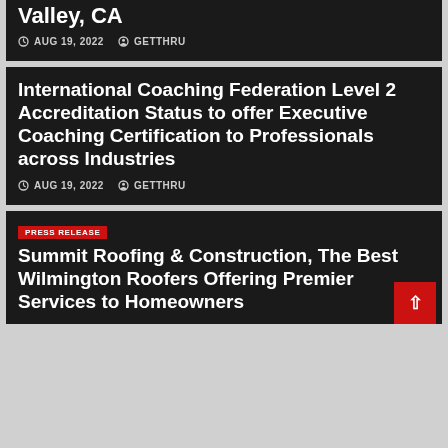Valley, CA
AUG 19, 2022   GETTHRU
International Coaching Federation Level 2 Accreditation Status to offer Executive Coaching Certification to Professionals across Industries
AUG 19, 2022   GETTHRU
PRESS RELEASE
Summit Roofing & Construction, The Best Wilmington Roofers Offering Premier Services to Homeowners